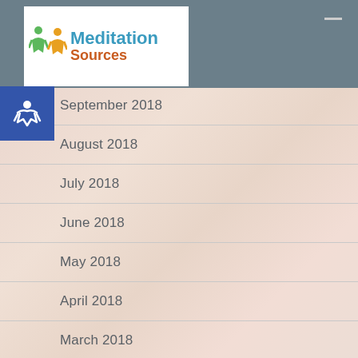[Figure (logo): Meditation Sources logo with colorful figure icon and teal/orange text]
September 2018
August 2018
July 2018
June 2018
May 2018
April 2018
March 2018
February 2018
January 2018